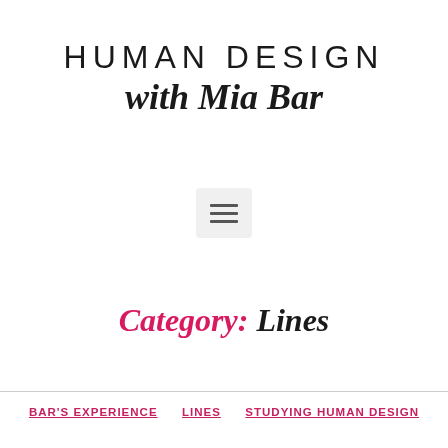HUMAN DESIGN with Mia Bar
[Figure (other): Hamburger menu icon button with three horizontal lines on a light gray rounded rectangle background]
Category: Lines
BAR'S EXPERIENCE   LINES   STUDYING HUMAN DESIGN